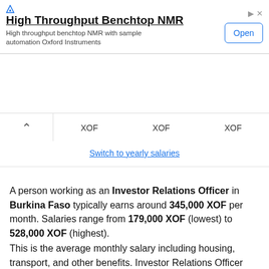[Figure (screenshot): Advertisement banner for High Throughput Benchtop NMR by Oxford Instruments with an Open button]
XOF   XOF   XOF
Switch to yearly salaries
A person working as an Investor Relations Officer in Burkina Faso typically earns around 345,000 XOF per month. Salaries range from 179,000 XOF (lowest) to 528,000 XOF (highest).
This is the average monthly salary including housing, transport, and other benefits. Investor Relations Officer salaries vary drastically based on experience, skills, gender, or location. Below you will find a detailed breakdown based on many different criteria.